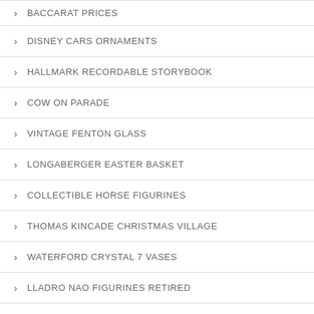BACCARAT PRICES
DISNEY CARS ORNAMENTS
HALLMARK RECORDABLE STORYBOOK
COW ON PARADE
VINTAGE FENTON GLASS
LONGABERGER EASTER BASKET
COLLECTIBLE HORSE FIGURINES
THOMAS KINCADE CHRISTMAS VILLAGE
WATERFORD CRYSTAL 7 VASES
LLADRO NAO FIGURINES RETIRED
PRECIOUS MOMENTS FIGURINES RARE